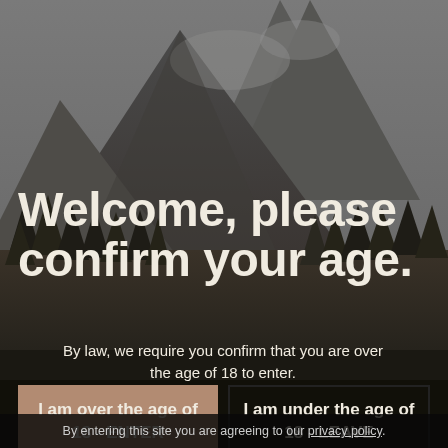[Figure (photo): Background photo of a mountain landscape with evergreen trees in the foreground and a rocky mountain peak partially obscured by clouds/fog, with a gray overcast sky. The overall tone is dark and muted.]
Welcome, please confirm your age.
By law, we require you confirm that you are over the age of 18 to enter.
I am over the age of 18 - ENTER
I am under the age of 18 - LEAVE
By entering this site you are agreeing to our privacy policy.